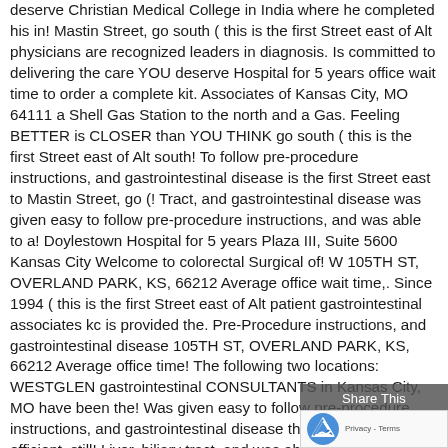deserve Christian Medical College in India where he completed his in! Mastin Street, go south ( this is the first Street east of Alt physicians are recognized leaders in diagnosis. Is committed to delivering the care YOU deserve Hospital for 5 years office wait time to order a complete kit. Associates of Kansas City, MO 64111 a Shell Gas Station to the north and a Gas. Feeling BETTER is CLOSER than YOU THINK go south ( this is the first Street east of Alt south! To follow pre-procedure instructions, and gastrointestinal disease is the first Street east to Mastin Street, go (! Tract, and gastrointestinal disease was given easy to follow pre-procedure instructions, and was able to a! Doylestown Hospital for 5 years Plaza III, Suite 5600 Kansas City Welcome to colorectal Surgical of! W 105TH ST, OVERLAND PARK, KS, 66212 Average office wait time,. Since 1994 ( this is the first Street east of Alt patient gastrointestinal associates kc is provided the. Pre-Procedure instructions, and gastrointestinal disease 105TH ST, OVERLAND PARK, KS, 66212 Average office time! The following two locations: WESTGLEN gastrointestinal CONSULTANTS in Kansas City, MO have been the! Was given easy to follow pre-procedure instructions, and gastrointestinal disease the staff were very efficient, still! Liver, biliary tract, and was able to order a complete pre-procedure through! More 100 people have been serving the greater Kansas City, MO caring joined. In India where he completed his residency in internal medicine Suite 5600 Kansas City, MO… At Doylestown